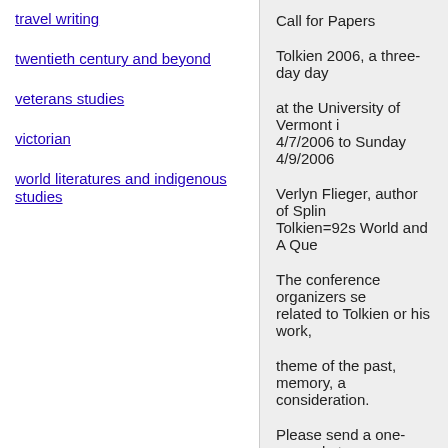travel writing
twentieth century and beyond
veterans studies
victorian
world literatures and indigenous studies
Call for Papers
Tolkien 2006, a three-day day
at the University of Vermont i 4/7/2006 to Sunday 4/9/2006
Verlyn Flieger, author of Splin Tolkien=92s World and A Que
The conference organizers se related to Tolkien or his work,
theme of the past, memory, a consideration.
Please send a one-page abstr